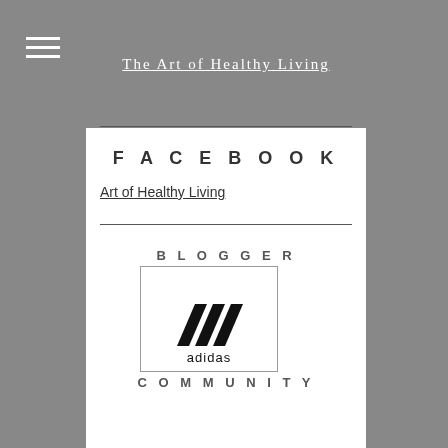The Art of Healthy Living
FACEBOOK
Art of Healthy Living
[Figure (logo): Adidas blogger community logo with three stripes and adidas text inside a rectangular border, with BLOGGER above and COMMUNITY below]